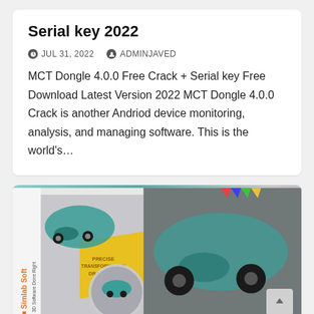Serial key 2022
JUL 31, 2022   ADMINJAVED
MCT Dongle 4.0.0 Free Crack + Serial key Free Download Latest Version 2022 MCT Dongle 4.0.0 Crack is another Andriod device monitoring, analysis, and managing software. This is the world's…
[Figure (photo): Product box image for Simlab Soft 3D software showing a green toy car with text 'PRECISE TRANSFORMATION DRAGGERS' on a yellow background]